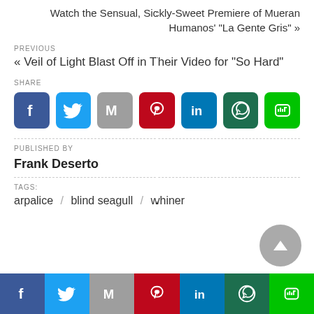Watch the Sensual, Sickly-Sweet Premiere of Mueran Humanos' "La Gente Gris" »
PREVIOUS
« Veil of Light Blast Off in Their Video for "So Hard"
SHARE
[Figure (infographic): Row of social media share buttons: Facebook, Twitter, Gmail, Pinterest, LinkedIn, WhatsApp, Line]
PUBLISHED BY
Frank Deserto
TAGS:
arpalice / blind seagull / whiner
[Figure (infographic): Bottom bar with social media share buttons: Facebook, Twitter, Gmail, Pinterest, LinkedIn, WhatsApp, Line]